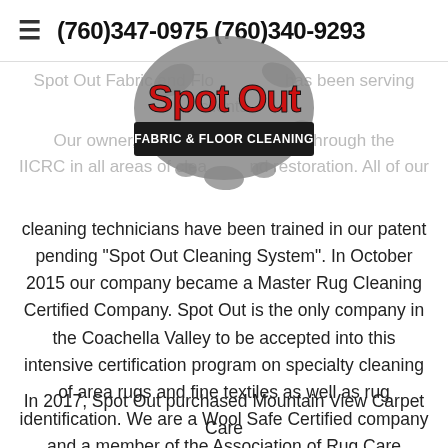≡  (760)347-0975 (760)340-9293
[Figure (logo): Spot Out Fabric & Floor Cleaning logo — red and black text with gray ink splat background]
Spot Out Fabric and Flo... has been serving clients
Our owner, Josh... ied through the IICRC in all areas of clea... and restoration.  All of our cleaning technicians have been trained in our patent pending "Spot Out Cleaning System".  In October 2015 our company became a Master Rug Cleaning Certified Company.  Spot Out is the only company in the Coachella Valley to be accepted into this intensive certification program on specialty cleaning of area rugs and fine textiles as well as rug identification.  We are a Wool Safe Certified company and a member of the Association of Rug Care Specialists.
In 2017, Spot Out purchased Mountain View Carpet Care and we are now operating Mountain View under the Spot